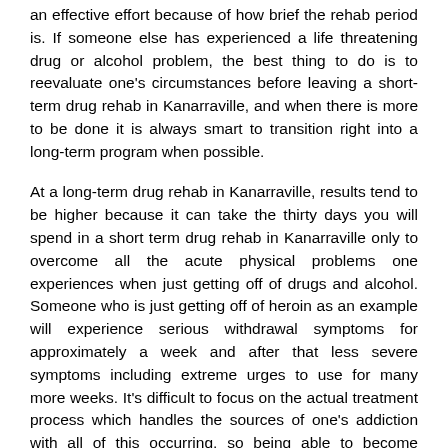an effective effort because of how brief the rehab period is. If someone else has experienced a life threatening drug or alcohol problem, the best thing to do is to reevaluate one's circumstances before leaving a short-term drug rehab in Kanarraville, and when there is more to be done it is always smart to transition right into a long-term program when possible.
At a long-term drug rehab in Kanarraville, results tend to be higher because it can take the thirty days you will spend in a short term drug rehab in Kanarraville only to overcome all the acute physical problems one experiences when just getting off of drugs and alcohol. Someone who is just getting off of heroin as an example will experience serious withdrawal symptoms for approximately a week and after that less severe symptoms including extreme urges to use for many more weeks. It's difficult to focus on the actual treatment process which handles the sources of one's addiction with all of this occurring, so being able to become rehabilitated and have any shot at long-term sobriety is much more realistic inside a long-term Kanarraville drug rehab. So after detox and after conquering the withdrawal symptoms, men and women in a long-term drug rehab in Kanarraville can receive rehab solutions which can deal with the